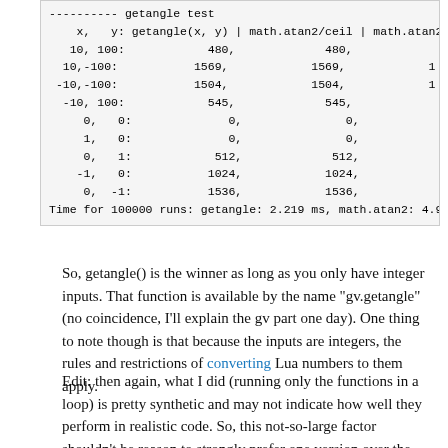[Figure (screenshot): Code output box showing getangle test results including x,y inputs, getangle(x,y), math.atan2/ceil, and math.atan2 values for multiple inputs, plus timing information.]
So, getangle() is the winner as long as you only have integer inputs. That function is available by the name "gv.getangle" (no coincidence, I'll explain the gv part one day). One thing to note though is that because the inputs are integers, the rules and restrictions of converting Lua numbers to them apply.
Edit: then again, what I did (running only the functions in a loop) is pretty synthetic and may not indicate how well they perform in realistic code. So, this not-so-large factor shouldn't be reason to strongly prefer one version over the other. Specifically, the Lua version may be faster in case the containing loop is not JIT-compiled. There was some discussion of the Lua JIT list about how...